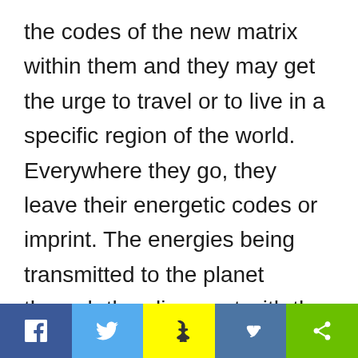the codes of the new matrix within them and they may get the urge to travel or to live in a specific region of the world.
Everywhere they go, they leave their energetic codes or imprint. The energies being transmitted to the planet through the alignment with the Galactic Center activate these codes.
[Figure (other): Social sharing bar with five buttons: Facebook (dark blue, f icon), Twitter (light blue, bird icon), Snapchat (yellow, ghost icon), VK (medium blue, VK icon), Share (green, share icon)]